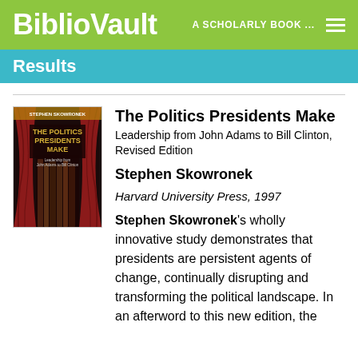BiblioVault   A SCHOLARLY BOOK ...
Results
[Figure (illustration): Book cover of 'The Politics Presidents Make' showing title text over a dark curtained background with an image of pillars or books]
The Politics Presidents Make
Leadership from John Adams to Bill Clinton, Revised Edition
Stephen Skowronek
Harvard University Press, 1997
Stephen Skowronek's wholly innovative study demonstrates that presidents are persistent agents of change, continually disrupting and transforming the political landscape. In an afterword to this new edition, the